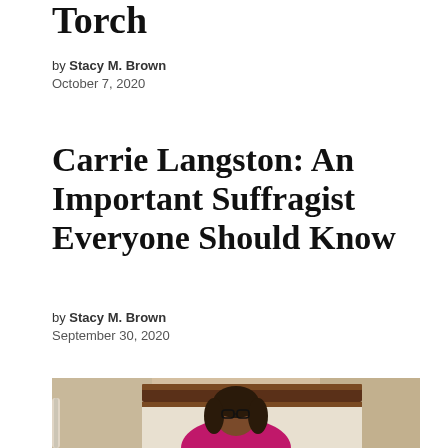Torch
by Stacy M. Brown
October 7, 2020
Carrie Langston: An Important Suffragist Everyone Should Know
by Stacy M. Brown
September 30, 2020
[Figure (photo): A Black woman with glasses and long dark hair wearing a pink/magenta top, seated on stairs with a wooden railing behind her.]